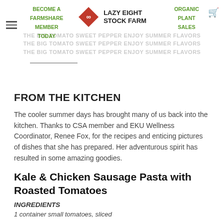BECOME A FARMSHARE MEMBER TODAY | LAZY EIGHT STOCK FARM | ORGANIC PLANT SALES
FROM THE KITCHEN
The cooler summer days has brought many of us back into the kitchen. Thanks to CSA member and EKU Wellness Coordinator, Renee Fox, for the recipes and enticing pictures of dishes that she has prepared. Her adventurous spirit has resulted in some amazing goodies.
Kale & Chicken Sausage Pasta with Roasted Tomatoes
INGREDIENTS
1 container small tomatoes, sliced